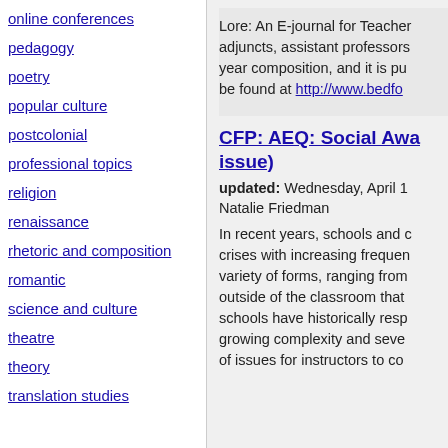online conferences
pedagogy
poetry
popular culture
postcolonial
professional topics
religion
renaissance
rhetoric and composition
romantic
science and culture
theatre
theory
translation studies
Lore: An E-journal for Teacher... adjuncts, assistant professors... year composition, and it is pu... be found at http://www.bedfo...
CFP: AEQ: Social Awa... issue)
updated: Wednesday, April ...
Natalie Friedman
In recent years, schools and c... crises with increasing frequen... variety of forms, ranging from... outside of the classroom that... schools have historically resp... growing complexity and seve... of issues for instructors to co...